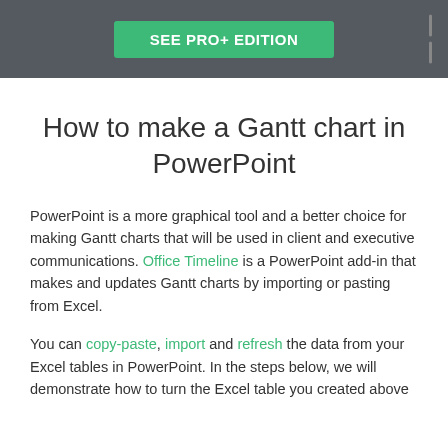SEE PRO+ EDITION
How to make a Gantt chart in PowerPoint
PowerPoint is a more graphical tool and a better choice for making Gantt charts that will be used in client and executive communications. Office Timeline is a PowerPoint add-in that makes and updates Gantt charts by importing or pasting from Excel.
You can copy-paste, import and refresh the data from your Excel tables in PowerPoint. In the steps below, we will demonstrate how to turn the Excel table you created above